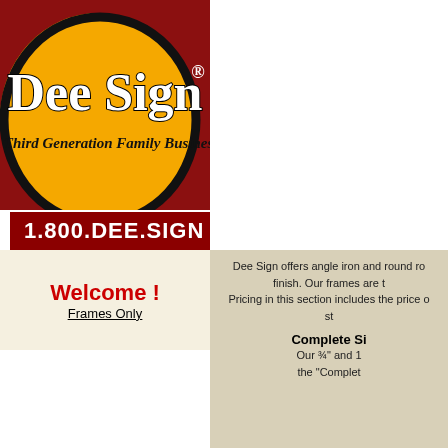[Figure (logo): Dee Sign logo — yellow oval with black outline on red background, white serif text 'Dee Sign' with registered trademark symbol, italic text 'A Third Generation Family Business']
[Figure (other): Facebook and Twitter social media icons]
1.800.DEE.SIGN
Welcome !
Frames Only
Dee Sign offers angle iron and round ro... finish. Our frames are t... Pricing in this section includes the price o... st...
Complete Si...
Our ¾" and 1... the "Complet...